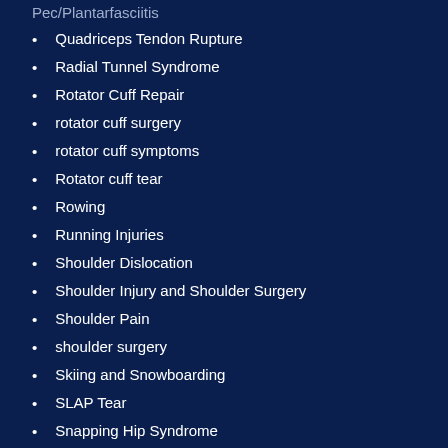Pec/Plantarfasciitis (partial, cut off at top)
Quadriceps Tendon Rupture
Radial Tunnel Syndrome
Rotator Cuff Repair
rotator cuff surgery
rotator cuff symptoms
Rotator cuff tear
Rowing
Running Injuries
Shoulder Dislocation
Shoulder Injury and Shoulder Surgery
Shoulder Pain
shoulder surgery
Skiing and Snowboarding
SLAP Tear
Snapping Hip Syndrome
Soccer Injuries
Spine and Back
Spondylolysis